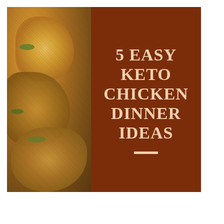[Figure (photo): A close-up photo of golden-brown breaded/fried chicken pieces with green herbs/lettuce visible, placed on the left side of the image. The right side has a dark brown/maroon rectangular background with white bold text reading '5 EASY KETO CHICKEN DINNER IDEAS' and a short horizontal white line beneath the text.]